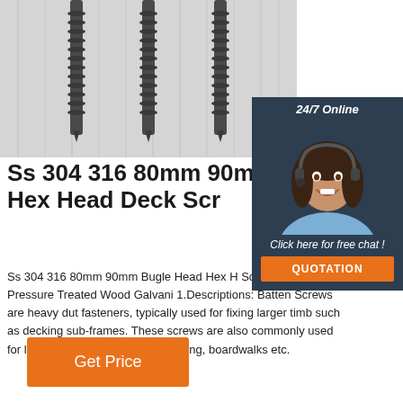[Figure (photo): Close-up photo of three metal screws (hex head deck screws) on a light gray/white background showing spiral threading]
[Figure (photo): Customer service representative woman with headset smiling, shown in a 24/7 Online chat widget with dark navy background, 'Click here for free chat!' text, and orange QUOTATION button]
Ss 304 316 80mm 90mm Head Hex Head Deck Scr
Ss 304 316 80mm 90mm Bugle Head Hex H Screws For Pressure Treated Wood Galvani 1.Descriptions: Batten Screws are heavy dut fasteners, typically used for fixing larger timb such as decking sub-frames. These screws are also commonly used for laying larger (commercial) decking, boardwalks etc.
Get Price